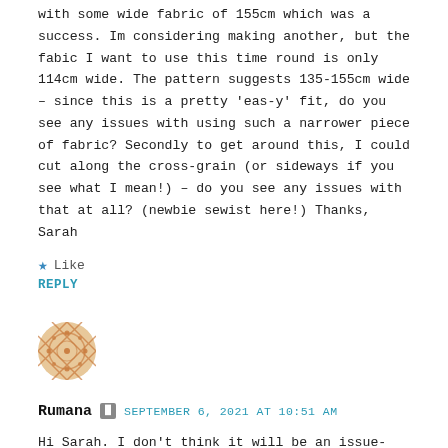with some wide fabric of 155cm which was a success. Im considering making another, but the fabric I want to use this time round is only 114cm wide. The pattern suggests 135-155cm wide – since this is a pretty 'easy' fit, do you see any issues with using such a narrower piece of fabric? Secondly to get around this, I could cut along the cross-grain (or sideways if you see what I mean!) – do you see any issues with that at all? (newbie sewist here!) Thanks, Sarah
★ Like
REPLY
[Figure (illustration): Round avatar icon with decorative geometric/woven pattern in orange and tan colors]
Rumana  🔲  SEPTEMBER 6, 2021 AT 10:51 AM
Hi Sarah. I don't think it will be an issue- the only thing will be that it will be a different type of fit? And the looseness will